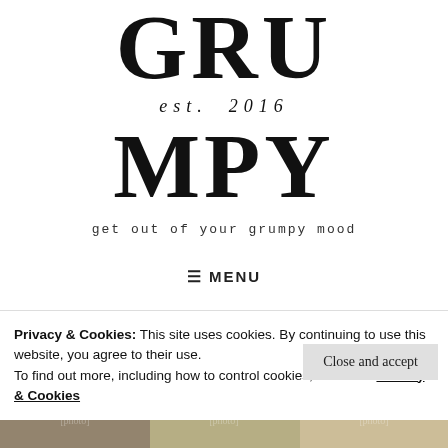GRUMPY est. 2016
get out of your grumpy mood
≡ MENU
Privacy & Cookies: This site uses cookies. By continuing to use this website, you agree to their use.
To find out more, including how to control cookies, see here: Privacy & Cookies
Close and accept
[Figure (photo): Bottom strip showing partial outdoor photos of people]